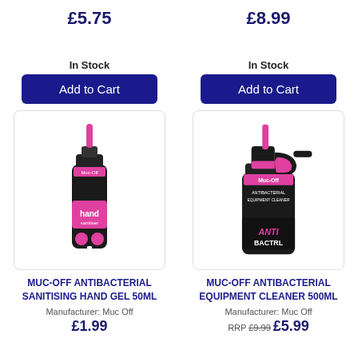£5.75
£8.99
In Stock
Add to Cart
In Stock
Add to Cart
[Figure (photo): Muc-Off hand sanitiser gel 50ml bottle with pink tip, black bottle]
[Figure (photo): Muc-Off Antibacterial Equipment Cleaner 500ml spray bottle, black with pink trigger]
MUC-OFF ANTIBACTERIAL SANITISING HAND GEL 50ML
MUC-OFF ANTIBACTERIAL EQUIPMENT CLEANER 500ML
Manufacturer: Muc Off
Manufacturer: Muc Off
£1.99
RRP £9.99  £5.99